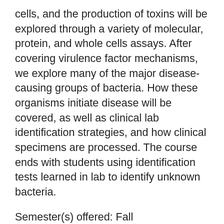cells, and the production of toxins will be explored through a variety of molecular, protein, and whole cells assays. After covering virulence factor mechanisms, we explore many of the major disease-causing groups of bacteria. How these organisms initiate disease will be covered, as well as clinical lab identification strategies, and how clinical specimens are processed. The course ends with students using identification tests learned in lab to identify unknown bacteria.
Semester(s) offered: Fall
Prerequisites: MICROBIO 312 with a C or higher
Credits: 3
MICROBIO 557 Advanced Topics in Biotechnology
Advanced concepts of molecular biotechnology; from cloning, sequencing, protein purification to